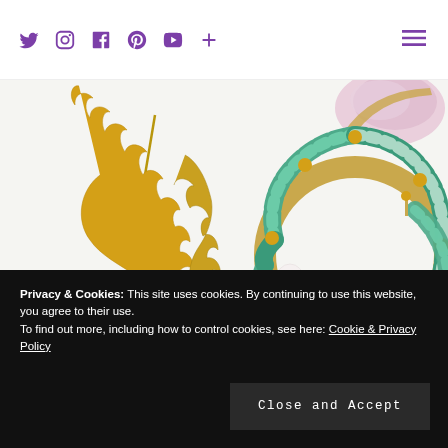Social media icons (Twitter, Instagram, Facebook, Pinterest, YouTube, Plus) and hamburger menu
[Figure (photo): Product photo of gold leaf-shaped drop earrings (two pairs shown) on the left, and turquoise/green beaded hoop earrings with pearl accent on the right, against a white background. A pink mother-of-pearl earring is partially visible at the top.]
Privacy & Cookies: This site uses cookies. By continuing to use this website, you agree to their use.
To find out more, including how to control cookies, see here: Cookie & Privacy Policy
Close and Accept